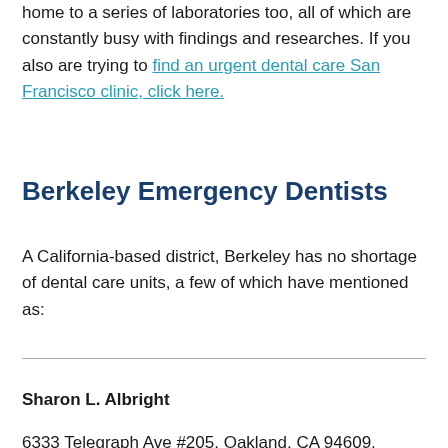home to a series of laboratories too, all of which are constantly busy with findings and researches. If you also are trying to find an urgent dental care San Francisco clinic, click here.
Berkeley Emergency Dentists
A California-based district, Berkeley has no shortage of dental care units, a few of which have mentioned as:
Sharon L. Albright
6333 Telegraph Ave #205, Oakland, CA 94609, United States